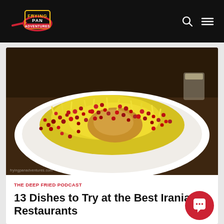Frying Pan Adventures
[Figure (photo): A white oval plate piled high with yellow saffron rice and shredded chicken topped with abundant red pomegranate seeds, served on a dark wooden table with a glass of drink in the background.]
THE DEEP FRIED PODCAST
13 Dishes to Try at the Best Iranian Restaurants